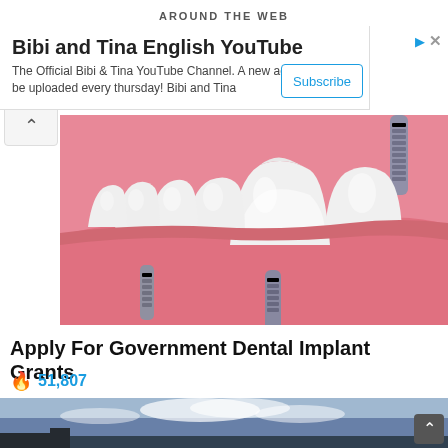AROUND THE WEB
Bibi and Tina English YouTube
The Official Bibi & Tina YouTube Channel. A new adventure will be uploaded every thursday! Bibi and Tina
[Figure (illustration): 3D medical illustration of dental implants inserted into a lower jaw, showing white teeth crowns attached to metal implant screws embedded in pink gum tissue and bone]
Apply For Government Dental Implant Grants
51,807
[Figure (photo): Outdoor photo showing sky with clouds, appears to be a landscape scene]